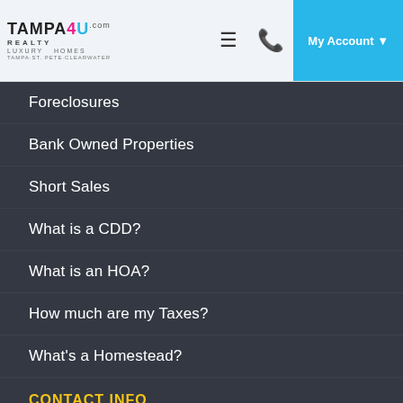TAMPA 4U.com REALTY LUXURY HOMES TAMPA·ST. PETE·CLEARWATER
Foreclosures
Bank Owned Properties
Short Sales
What is a CDD?
What is an HOA?
How much are my Taxes?
What's a Homestead?
CONTACT INFO
TAMPA 4U Realty, LLC.
813-671-6657